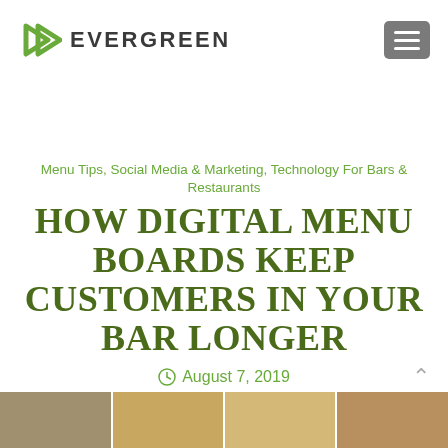EVERGREEN
Menu Tips, Social Media & Marketing, Technology For Bars & Restaurants
HOW DIGITAL MENU BOARDS KEEP CUSTOMERS IN YOUR BAR LONGER
August 7, 2019
[Figure (photo): Bottom strip of restaurant/bar photos]